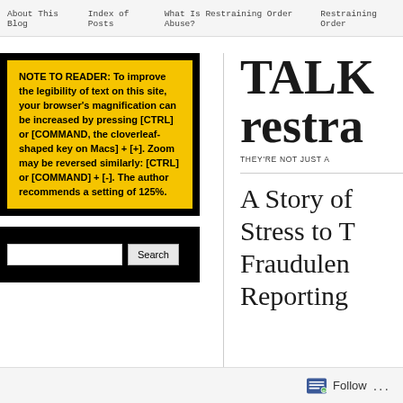About This Blog | Index of Posts | What Is Restraining Order Abuse? | Restraining Order
NOTE TO READER: To improve the legibility of text on this site, your browser’s magnification can be increased by pressing [CTRL] or [COMMAND, the cloverleaf-shaped key on Macs] + [+]. Zoom may be reversed similarly: [CTRL] or [COMMAND] + [-]. The author recommends a setting of 125%.
[Figure (screenshot): Search box with text input field and Search button on black background]
TALK restra
THEY’RE NOT JUST A
A Story of Stress to T Fraudulent Reporting
Follow ...